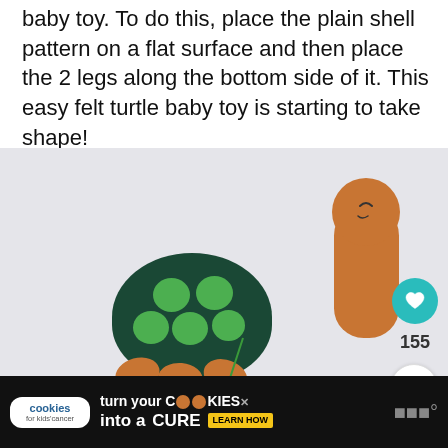baby toy. To do this, place the plain shell pattern on a flat surface and then place the 2 legs along the bottom side of it. This easy felt turtle baby toy is starting to take shape!
[Figure (photo): Photo of felt turtle toy parts on a white surface: a dark green oval shell with bright green felt spots, orange-brown felt legs and body pieces, and a separate tan body/head piece with stitched eye. A green thread trails from the shell. Social sharing icons (heart, 155 likes, share) on the right side.]
[Figure (infographic): Advertisement banner: black background with 'cookies for kids cancer' logo on white rounded rectangle, text 'turn your COOKIES into a CURE LEARN HOW' with cookie icon graphics and a close button.]